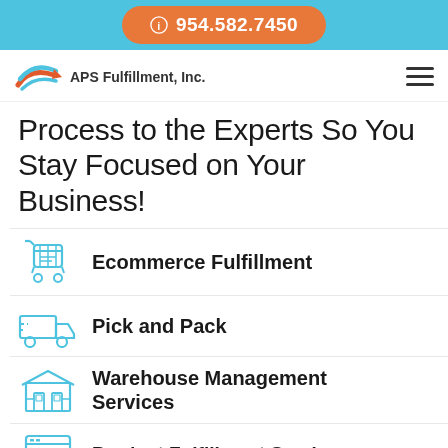954.582.7450
[Figure (logo): APS Fulfillment, Inc. logo with stylized arrow graphic]
Process to the Experts So You Stay Focused on Your Business!
Ecommerce Fulfillment
Pick and Pack
Warehouse Management Services
Product Fulfillment Services